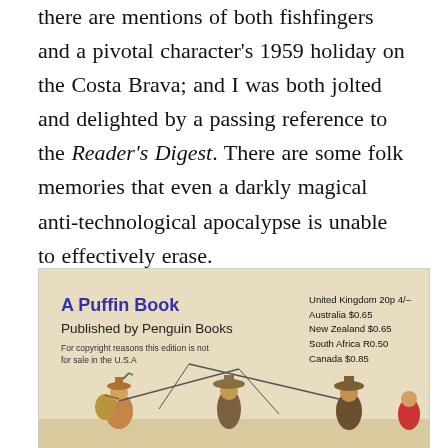there are mentions of both fishfingers and a pivotal character's 1959 holiday on the Costa Brava; and I was both jolted and delighted by a passing reference to the Reader's Digest. There are some folk memories that even a darkly magical anti-technological apocalypse is unable to effectively erase.
[Figure (photo): Back cover of a Puffin Book paperback published by Penguin Books. Shows pricing for United Kingdom 20p 4/-, Australia $0.65, New Zealand $0.65, South Africa R0.50, Canada $0.85. Text: 'For copyright reasons this edition is not for sale in the U.S.A'. Illustration of figures fishing at the bottom.]